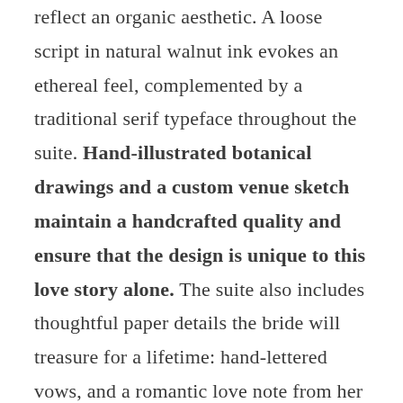reflect an organic aesthetic. A loose script in natural walnut ink evokes an ethereal feel, complemented by a traditional serif typeface throughout the suite. Hand-illustrated botanical drawings and a custom venue sketch maintain a handcrafted quality and ensure that the design is unique to this love story alone. The suite also includes thoughtful paper details the bride will treasure for a lifetime: hand-lettered vows, and a romantic love note from her husband-to-be.